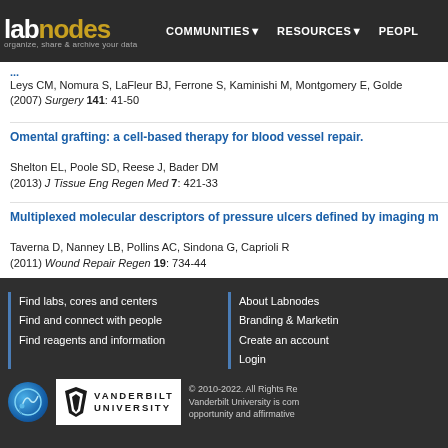labnodes | COMMUNITIES | RESOURCES | PEOPLE
Leys CM, Nomura S, LaFleur BJ, Ferrone S, Kaminishi M, Montgomery E, Golde... (2007) Surgery 141: 41-50
Omental grafting: a cell-based therapy for blood vessel repair.
Shelton EL, Poole SD, Reese J, Bader DM
(2013) J Tissue Eng Regen Med 7: 421-33
Multiplexed molecular descriptors of pressure ulcers defined by imaging m...
Taverna D, Nanney LB, Pollins AC, Sindona G, Caprioli R
(2011) Wound Repair Regen 19: 734-44
Find labs, cores and centers | Find and connect with people | Find reagents and information | About Labnodes | Branding & Marketing | Create an account | Login | © 2010-2022. All Rights Reserved. Vanderbilt University is committed to equal opportunity and affirmative...